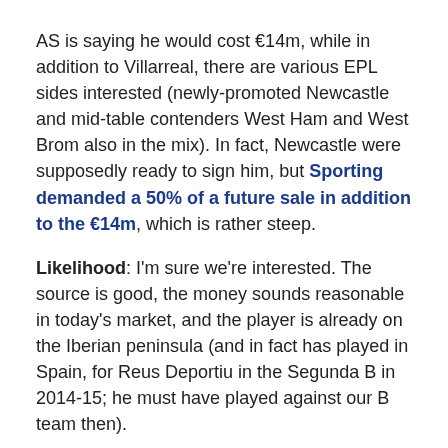AS is saying he would cost €14m, while in addition to Villarreal, there are various EPL sides interested (newly-promoted Newcastle and mid-table contenders West Ham and West Brom also in the mix). In fact, Newcastle were supposedly ready to sign him, but Sporting demanded a 50% of a future sale in addition to the €14m, which is rather steep.
Likelihood: I'm sure we're interested. The source is good, the money sounds reasonable in today's market, and the player is already on the Iberian peninsula (and in fact has played in Spain, for Reus Deportiu in the Segunda B in 2014-15; he must have played against our B team then).
But is it likely? Hard to say. Apart from taking Porto loanees, we have not had many players with